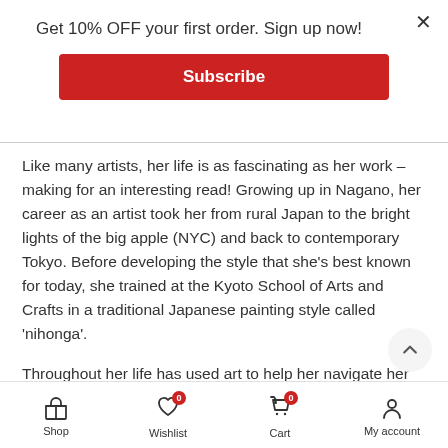Get 10% OFF your first order. Sign up now!
Subscribe
Like many artists, her life is as fascinating as her work – making for an interesting read! Growing up in Nagano, her career as an artist took her from rural Japan to the bright lights of the big apple (NYC) and back to contemporary Tokyo. Before developing the style that she's best known for today, she trained at the Kyoto School of Arts and Crafts in a traditional Japanese painting style called 'nihonga'.
Throughout her life has used art to help her navigate her struggles with mental health. She describes her work as 'art medicine'. Today, she lives in a psychiatric hospital yet always finds the time to continue to create, maintaining her profession as a highly respected
Shop  Wishlist  Cart  My account